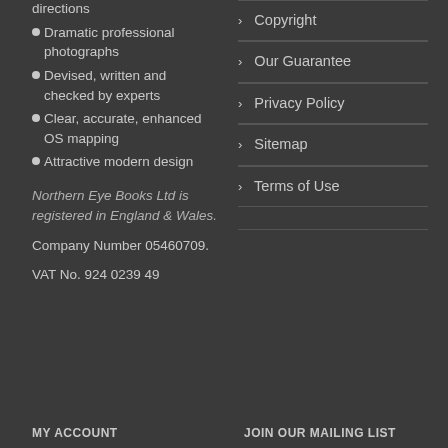directions
Dramatic professional photographs
Devised, written and checked by experts
Clear, accurate, enhanced OS mapping
Attractive modern design
Northern Eye Books Ltd is registered in England & Wales.
Company Number 05460709.
VAT No. 924 0239 49
Copyright
Our Guarantee
Privacy Policy
Sitemap
Terms of Use
MY ACCOUNT
JOIN OUR MAILING LIST